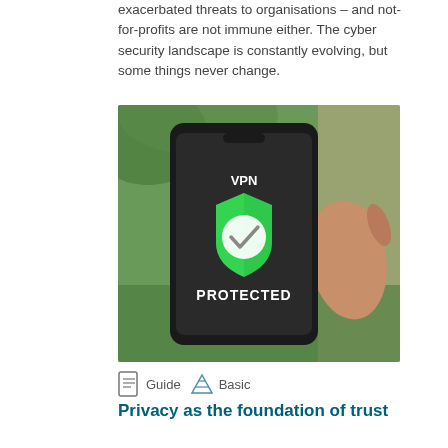exacerbated threats to organisations – and not-for-profits are not immune either. The cyber security landscape is constantly evolving, but some things never change.
[Figure (photo): A hand holding a smartphone displaying a VPN app screen with a green shield icon and the word 'PROTECTED' in white text.]
Guide   Basic
Privacy as the foundation of trust